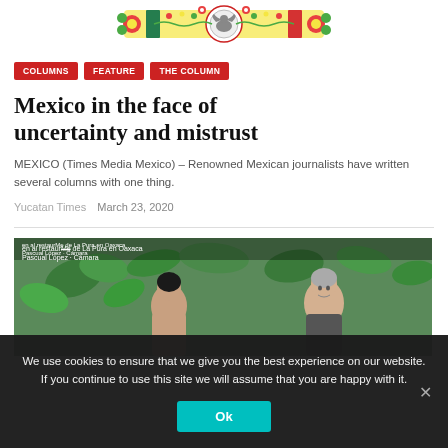[Figure (logo): Yucatan Times / Mexico decorative header logo with colorful folk art design including flowers and Mexican motifs]
COLUMNS
FEATURE
THE COLUMN
Mexico in the face of uncertainty and mistrust
MEXICO (Times Media Mexico) – Renowned Mexican journalists have written several columns with one thing.
Yucatan Times  March 23, 2020
[Figure (photo): Photo showing people at a restaurant (La Pura en Oaxaca), with a woman in foreground and an older man with grey hair in the background, green plants visible]
We use cookies to ensure that we give you the best experience on our website. If you continue to use this site we will assume that you are happy with it.